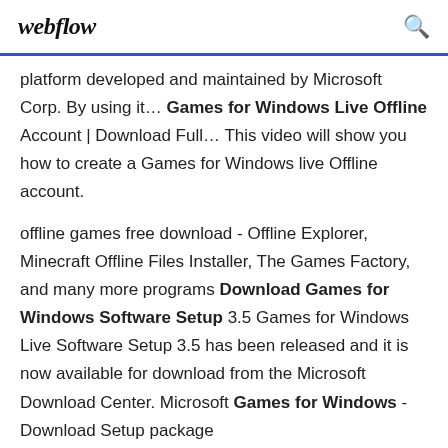webflow
platform developed and maintained by Microsoft Corp. By using it… Games for Windows Live Offline Account | Download Full… This video will show you how to create a Games for Windows live Offline account.
offline games free download - Offline Explorer, Minecraft Offline Files Installer, The Games Factory, and many more programs Download Games for Windows Software Setup 3.5 Games for Windows Live Software Setup 3.5 has been released and it is now available for download from the Microsoft Download Center. Microsoft Games for Windows - Download Setup package